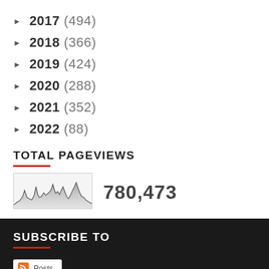► 2017 (494)
► 2018 (366)
► 2019 (424)
► 2020 (288)
► 2021 (352)
► 2022 (88)
TOTAL PAGEVIEWS
[Figure (area-chart): Small area/line chart thumbnail showing pageview history over time with peaks and valleys, rendered in grayscale]
780,473
SUBSCRIBE TO
[Figure (other): RSS feed subscribe button with orange RSS icon and Posts label]